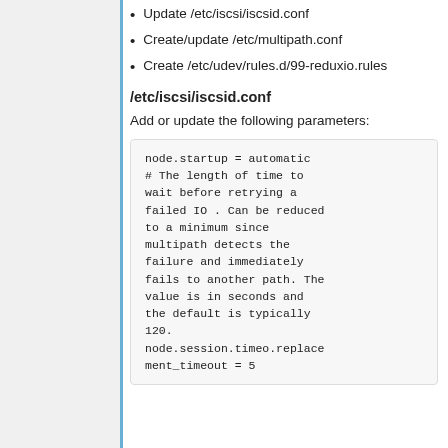Update /etc/iscsi/iscsid.conf
Create/update /etc/multipath.conf
Create /etc/udev/rules.d/99-reduxio.rules
/etc/iscsi/iscsid.conf
Add or update the following parameters:
node.startup = automatic
# The length of time to wait before retrying a failed IO . Can be reduced to a minimum since multipath detects the failure and immediately fails to another path. The value is in seconds and the default is typically 120.
node.session.timeo.replacement_timeout = 5